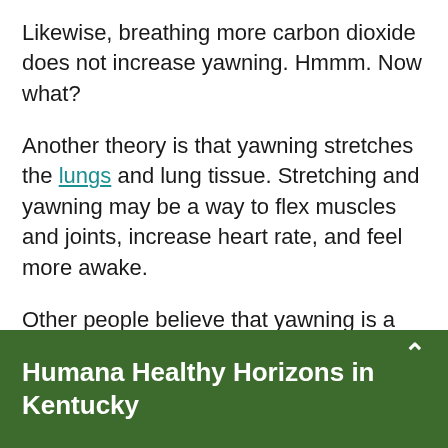Likewise, breathing more carbon dioxide does not increase yawning. Hmmm. Now what?
Another theory is that yawning stretches the lungs and lung tissue. Stretching and yawning may be a way to flex muscles and joints, increase heart rate, and feel more awake.
Other people believe that yawning is a protective reflex to redistribute the oil-like substance called surfactant (say: sur-FAK-tint) that helps keep lungs lubricated inside and keeps them from collapsing. So, if we didn't yawn, according to this theory, [text cut off]
Humana Healthy Horizons in Kentucky